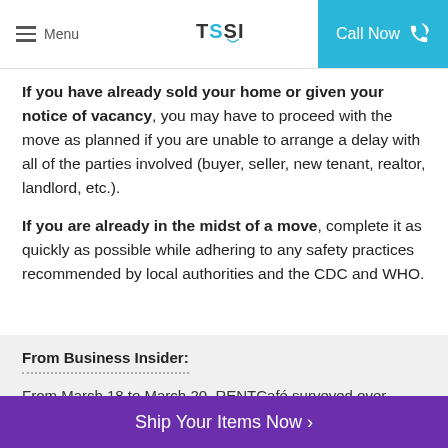Menu | TSSI | Call Now
If you have already sold your home or given your notice of vacancy, you may have to proceed with the move as planned if you are unable to arrange a delay with all of the parties involved (buyer, seller, new tenant, realtor, landlord, etc.).
If you are already in the midst of a move, complete it as quickly as possible while adhering to any safety practices recommended by local authorities and the CDC and WHO.
From Business Insider:
From March 18 to March 20, RENTCafé surveyed over 6,000 people who are in the process of searching for a new rental home to see if they were still planning on
Ship Your Items Now ›